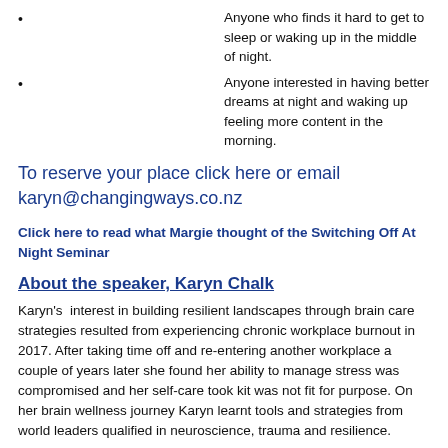Anyone who finds it hard to get to sleep or waking up in the middle of night.
Anyone interested in having better dreams at night and waking up feeling more content in the morning.
To reserve your place click here or email karyn@changingways.co.nz
Click here to read what Margie thought of the Switching Off At Night Seminar
About the speaker, Karyn Chalk
Karyn's  interest in building resilient landscapes through brain care strategies resulted from experiencing chronic workplace burnout in 2017. After taking time off and re-entering another workplace a couple of years later she found her ability to manage stress was compromised and her self-care took kit was not fit for purpose. On her brain wellness journey Karyn learnt tools and strategies from world leaders qualified in neuroscience, trauma and resilience.
Karyn is a brain health coach and trainer. She has masterfully